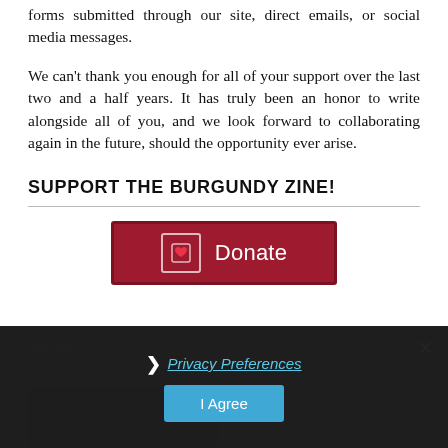forms submitted through our site, direct emails, or social media messages.
We can't thank you enough for all of your support over the last two and a half years. It has truly been an honor to write alongside all of you, and we look forward to collaborating again in the future, should the opportunity ever arise.
SUPPORT THE BURGUNDY ZINE!
[Figure (other): Donate button with heart icon and red background]
MERCH
[Figure (other): Privacy Preferences overlay with I Agree button and close X]
[Figure (photo): Dark image area at bottom]